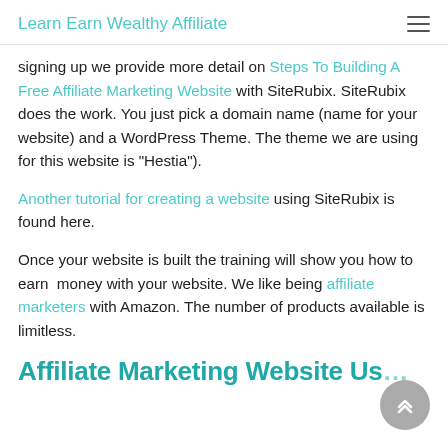Learn Earn Wealthy Affiliate
signing up we provide more detail on Steps To Building A Free Affiliate Marketing Website with SiteRubix. SiteRubix does the work. You just pick a domain name (name for your website) and a WordPress Theme. The theme we are using for this website is "Hestia").
Another tutorial for creating a website using SiteRubix is found here.
Once your website is built the training will show you how to earn  money with your website. We like being affiliate marketers with Amazon. The number of products available is limitless.
Affiliate Marketing Website Us…